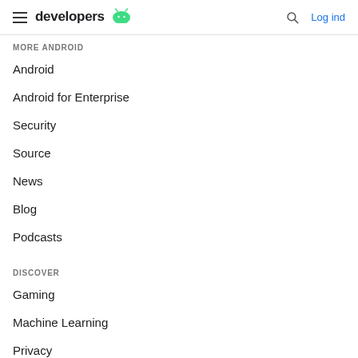developers  Log ind
MORE ANDROID
Android
Android for Enterprise
Security
Source
News
Blog
Podcasts
DISCOVER
Gaming
Machine Learning
Privacy